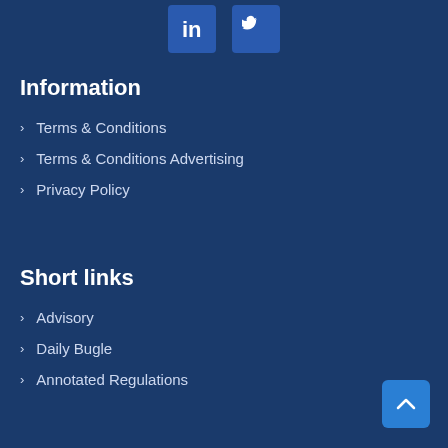[Figure (illustration): LinkedIn and Twitter social media icon buttons with blue background squares]
Information
Terms & Conditions
Terms & Conditions Advertising
Privacy Policy
Short links
Advisory
Daily Bugle
Annotated Regulations